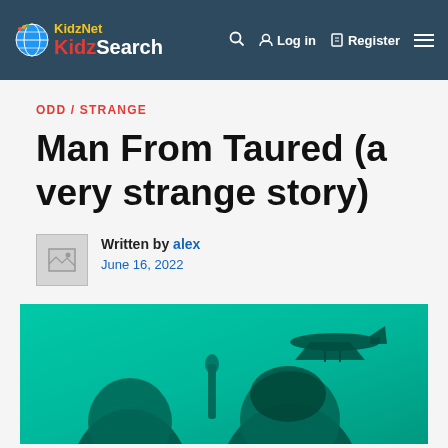KidzNet KidzSearch — Log in — Register
ODD / STRANGE
Man From Taured (a very strange story)
Written by alex
June 16, 2022
[Figure (photo): Teal/green-tinted vintage photo showing two men with an airplane flying overhead in the background.]